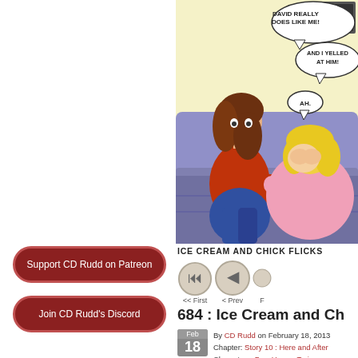[Figure (illustration): Webcomic panel showing two women on a couch — one with brown hair in a red top and jeans, and one with blonde hair in pink clothing. Speech bubbles read: 'DAVID REALLY DOES LIKE ME!', 'AND I YELLED AT HIM!', and 'AH.']
ICE CREAM AND CHICK FLICKS
[Figure (other): Navigation buttons: << First (rewind icon), < Prev (back icon), and a partially visible third button]
684 : Ice Cream and Ch
By CD Rudd on February 18, 2013
Chapter: Story 10 : Here and After
Characters: Bay, Honey, Teri
Support CD Rudd on Patreon
Join CD Rudd's Discord